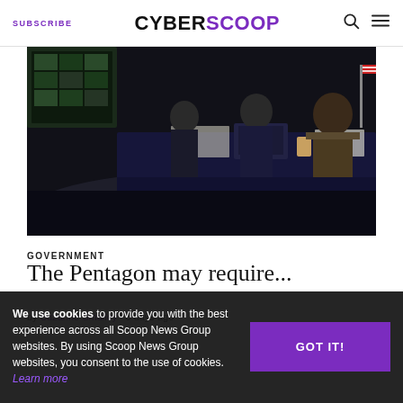SUBSCRIBE | CYBERSCOOP
[Figure (photo): Military officials and government personnel seated at a table during a hearing or briefing, with screens visible in the background]
GOVERNMENT
The Pentagon may require...
by Suzanne Smalley • 3 days ago
We use cookies to provide you with the best experience across all Scoop News Group websites. By using Scoop News Group websites, you consent to the use of cookies. Learn more
[Figure (photo): Partially visible second article image at bottom right]